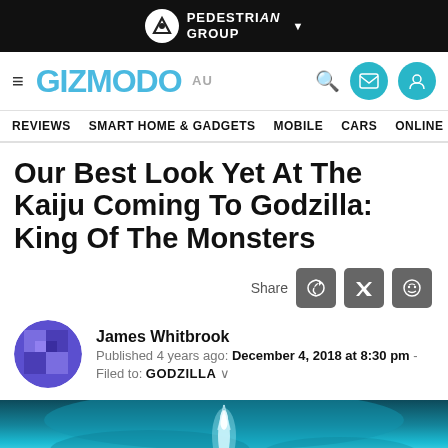PEDESTRIAN GROUP
GIZMODO AU | REVIEWS | SMART HOME & GADGETS | MOBILE | CARS | ONLINE
Our Best Look Yet At The Kaiju Coming To Godzilla: King Of The Monsters
Share
James Whitbrook
Published 4 years ago: December 4, 2018 at 8:30 pm
Filed to: GODZILLA
[Figure (photo): Hero image showing a bluish underwater or atmospheric scene with a bright glowing figure in the center, associated with Godzilla: King of the Monsters]